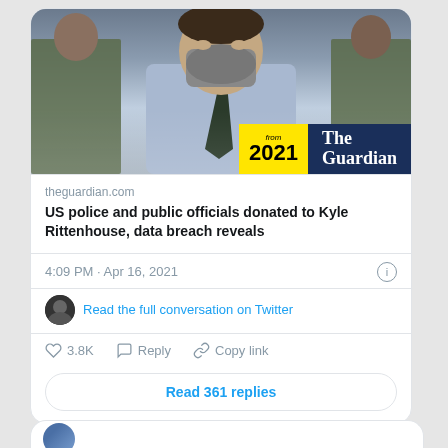[Figure (screenshot): Twitter/X screenshot showing a tweet with a Guardian article link about US police and public officials donating to Kyle Rittenhouse. The tweet includes a photo of a masked young man in a suit at a court hearing, with a Guardian 'from 2021' badge overlay. Below the article card: timestamp 4:09 PM · Apr 16, 2021, a reply prompt, like count 3.8K, Reply, Copy link actions, and a 'Read 361 replies' button.]